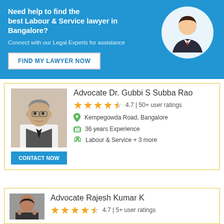[Figure (infographic): Blue banner with text about finding Labour & Service lawyer in Bangalore, a Find My Lawyer Now button, and a lawyer avatar icon on the right]
Advocate Dr. Gubbi S Subba Rao
4.7 | 50+ user ratings
Kempegowda Road, Bangalore
36 years Experience
Labour & Service + 3 more
Advocate Rajesh Kumar K
4.7 | 5+ user ratings